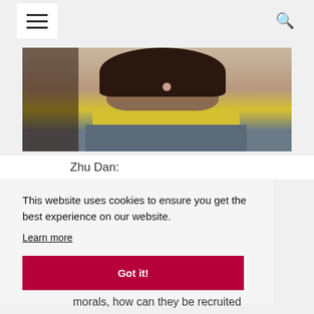Navigation bar with hamburger menu and search icon
[Figure (photo): A young woman with short brown hair wearing a yellow and grey striped sweater, photographed from the chest up. Another person is partially visible on the left side.]
Zhu Dan:
This website uses cookies to ensure you get the best experience on our website.
Learn more
Got it!
morals, how can they be recruited